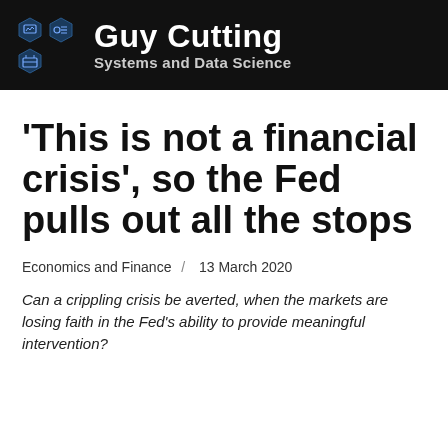[Figure (logo): Guy Cutting Systems and Data Science logo with hexagonal icons and brand name on black background]
'This is not a financial crisis', so the Fed pulls out all the stops
Economics and Finance / 13 March 2020
Can a crippling crisis be averted, when the markets are losing faith in the Fed's ability to provide meaningful intervention?